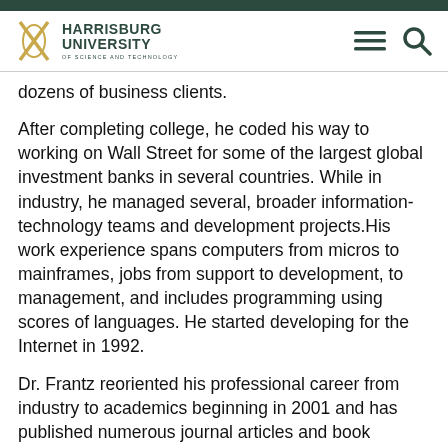Harrisburg University of Science and Technology
dozens of business clients.
After completing college, he coded his way to working on Wall Street for some of the largest global investment banks in several countries. While in industry, he managed several, broader information-technology teams and development projects.His work experience spans computers from micros to mainframes, jobs from support to development, to management, and includes programming using scores of languages. He started developing for the Internet in 1992.
Dr. Frantz reoriented his professional career from industry to academics beginning in 2001 and has published numerous journal articles and book chapters since. Presently, he is Co-chief Editor of the journal Computational and Mathematical Organization Theory (CMOT). Over the past decade, he has taught technology- and business-